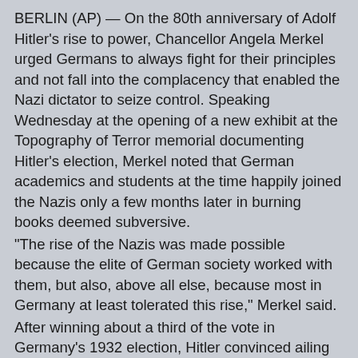BERLIN (AP) — On the 80th anniversary of Adolf Hitler's rise to power, Chancellor Angela Merkel urged Germans to always fight for their principles and not fall into the complacency that enabled the Nazi dictator to seize control. Speaking Wednesday at the opening of a new exhibit at the Topography of Terror memorial documenting Hitler's election, Merkel noted that German academics and students at the time happily joined the Nazis only a few months later in burning books deemed subversive. "The rise of the Nazis was made possible because the elite of German society worked with them, but also, above all else, because most in Germany at least tolerated this rise," Merkel said. After winning about a third of the vote in Germany's 1932 election, Hitler convinced ailing President Paul von Hindenburg to appoint him chancellor on Jan. 30, 1933 — setting Germany on a course to war and genocide. "This path ended in Auschwitz," said Andreas Nachama, the director of the Topography of Terror. The Topography memorial is built around the ruins of buildings where the Gestapo secret police, the SS and the Reich Security Main Office ran Hitler's police state from 1933